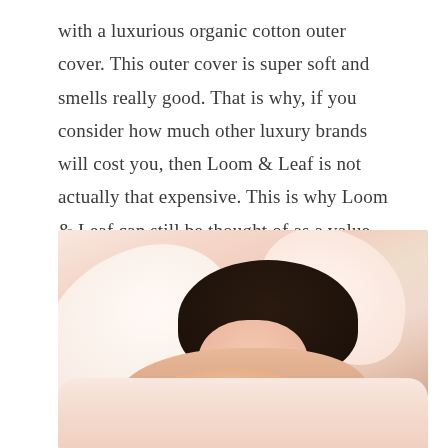with a luxurious organic cotton outer cover. This outer cover is super soft and smells really good. That is why, if you consider how much other luxury brands will cost you, then Loom & Leaf is not actually that expensive. This is why Loom & Leaf can still be thought of as a value product, even if it costs two times more expensive than Nectar Mattresses.
[Figure (photo): A woman sleeping peacefully on a white pillow, eyes closed, dark hair, photographed from above at an angle. Soft pink/white bedding surrounds her.]